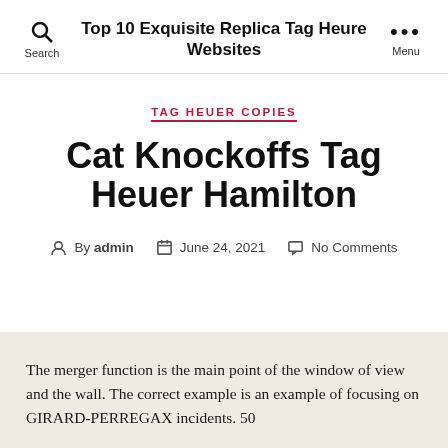Top 10 Exquisite Replica Tag Heure Websites
TAG HEUER COPIES
Cat Knockoffs Tag Heuer Hamilton
By admin  June 24, 2021  No Comments
The merger function is the main point of the window of view and the wall. The correct example is an example of focusing on GIRARD-PERREGAX incidents. 50